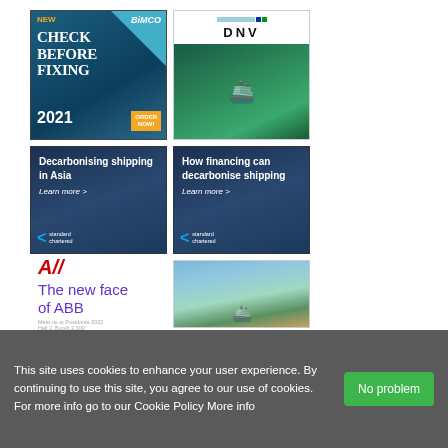[Figure (infographic): BIMCO 'New Check Before Fixing 2021' ad with ORDER NOW button on dark teal background]
[Figure (infographic): DNV logo with horizontal color stripes and aerial photo of container ship]
[Figure (infographic): Standard Chartered 'Decarbonising shipping in Asia. Learn more >' ad with ship imagery]
[Figure (infographic): Standard Chartered 'How financing can decarbonise shipping. Learn more >' ad]
[Figure (logo): ABB logo with italic A// in red, 'The new face of ABB' in purple]
[Figure (photo): Aerial photo of container ship in water with mountains]
This site uses cookies to enhance your user experience. By continuing to use this site, you agree to our use of cookies. For more info go to our Cookie Policy More info